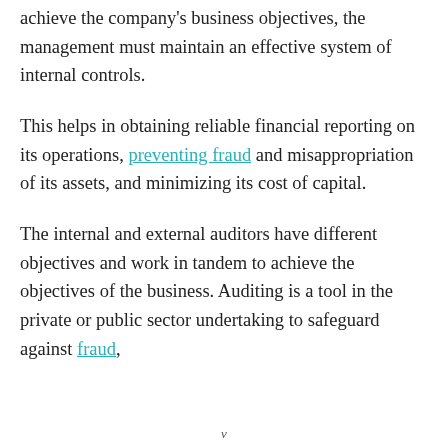achieve the company's business objectives, the management must maintain an effective system of internal controls.
This helps in obtaining reliable financial reporting on its operations, preventing fraud and misappropriation of its assets, and minimizing its cost of capital.
The internal and external auditors have different objectives and work in tandem to achieve the objectives of the business. Auditing is a tool in the private or public sector undertaking to safeguard against fraud,
v